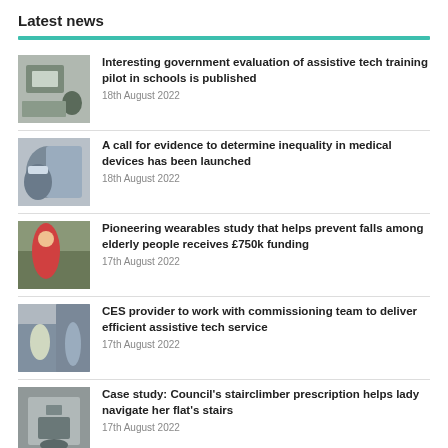Latest news
Interesting government evaluation of assistive tech training pilot in schools is published
18th August 2022
A call for evidence to determine inequality in medical devices has been launched
18th August 2022
Pioneering wearables study that helps prevent falls among elderly people receives £750k funding
17th August 2022
CES provider to work with commissioning team to deliver efficient assistive tech service
17th August 2022
Case study: Council's stairclimber prescription helps lady navigate her flat's stairs
17th August 2022